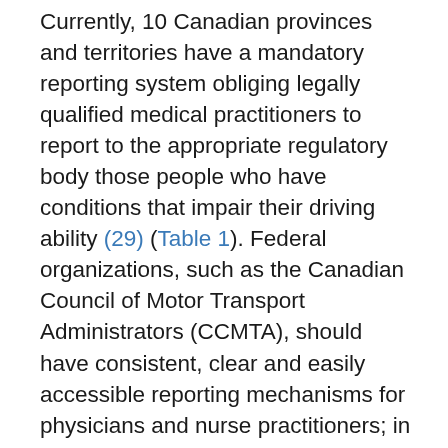Currently, 10 Canadian provinces and territories have a mandatory reporting system obliging legally qualified medical practitioners to report to the appropriate regulatory body those people who have conditions that impair their driving ability (29) (Table 1). Federal organizations, such as the Canadian Council of Motor Transport Administrators (CCMTA), should have consistent, clear and easily accessible reporting mechanisms for physicians and nurse practitioners; in addition, provincial and territorial ministries of transportation should include information on their websites about diabetes and driving, and which types of people with diabetes should be reported. A study in Ontario showed that a program of medical warnings issued to 100,075 people over a 3-year period for a variety of different medical issues, including alcoholism, epilepsy, dementia, sleep disorders and diabetes, resulted in a 45% reduction in annual accident rates when compared with the period before the warning. People with diabetes